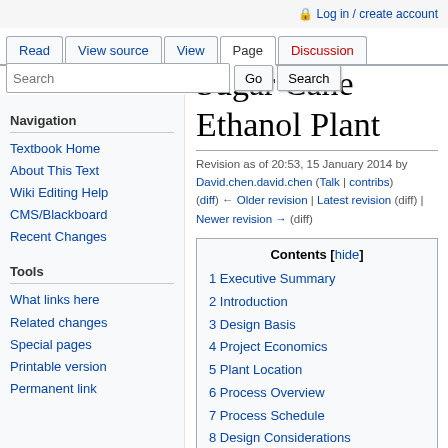Log in / create account
Read | View source | View | Page | Discussion
Sugar Cane Ethanol Plant
Revision as of 20:53, 15 January 2014 by David.chen.david.chen (Talk | contribs)
(diff) ← Older revision | Latest revision (diff) | Newer revision → (diff)
Navigation
Textbook Home
About This Text
Wiki Editing Help
CMS/Blackboard
Recent Changes
Tools
What links here
Related changes
Special pages
Printable version
Permanent link
| Contents |
| --- |
| 1 Executive Summary |
| 2 Introduction |
| 3 Design Basis |
| 4 Project Economics |
| 5 Plant Location |
| 6 Process Overview |
| 7 Process Schedule |
| 8 Design Considerations |
| 8.1 Milling and Pre-Treatment |
| 8.1.1 Milling Results |